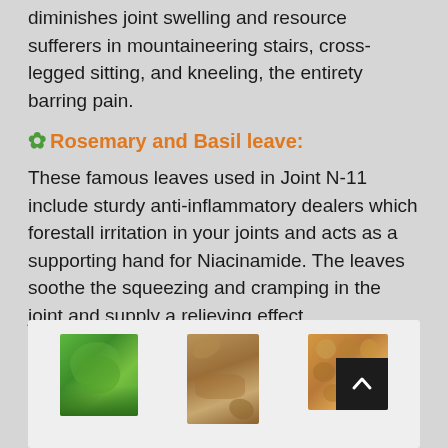diminishes joint swelling and resource sufferers in mountaineering stairs, cross-legged sitting, and kneeling, the entirety barring pain.
✿ Rosemary and Basil leave:
These famous leaves used in Joint N-11 include sturdy anti-inflammatory dealers which forestall irritation in your joints and acts as a supporting hand for Niacinamide. The leaves soothe the squeezing and cramping in the joint and supply a relieving effect.
[Figure (photo): Three images showing herbs and ingredients: basil leaves (green), ginger root (brown/tan), and nuts/seeds (golden brown). Used in Joint N-11 supplement.]